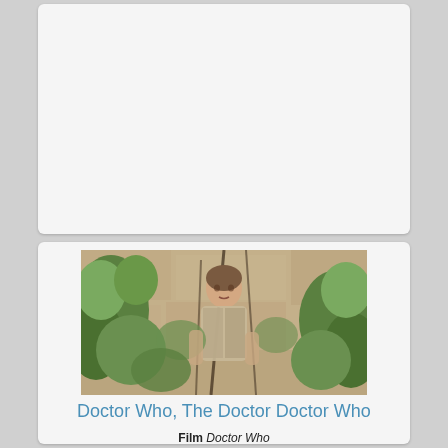[Figure (photo): A young woman standing among dense green foliage and vines against a stone wall background]
Doctor Who, The Doctor Doctor Who
Film Doctor Who
Play Rings of Akhaten
Author Steven Moffat
Role The Doctor Doctor Who
Actor Matt Smith